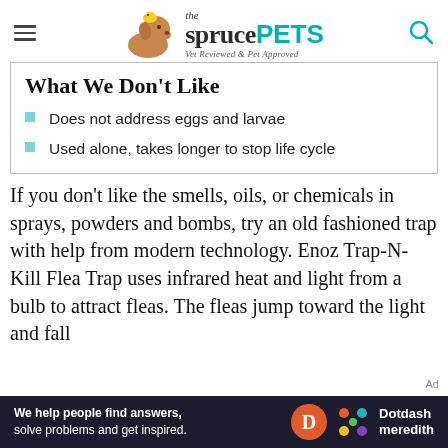the spruce PETS — Vet Reviewed & Pet Approved
What We Don't Like
Does not address eggs and larvae
Used alone, takes longer to stop life cycle
If you don't like the smells, oils, or chemicals in sprays, powders and bombs, try an old fashioned trap with help from modern technology. Enoz Trap-N-Kill Flea Trap uses infrared heat and light from a bulb to attract fleas. The fleas jump toward the light and fall
[Figure (logo): Dotdash Meredith advertisement banner: 'We help people find answers, solve problems and get inspired.' with Dotdash Meredith logo]